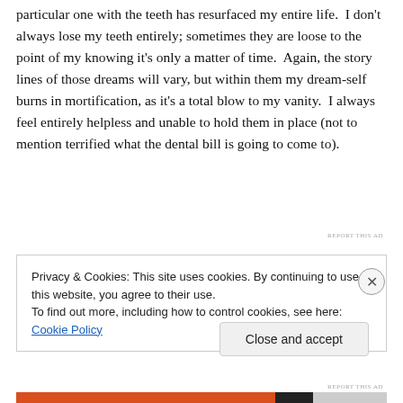particular one with the teeth has resurfaced my entire life.  I don't always lose my teeth entirely; sometimes they are loose to the point of my knowing it's only a matter of time.  Again, the story lines of those dreams will vary, but within them my dream-self burns in mortification, as it's a total blow to my vanity.  I always feel entirely helpless and unable to hold them in place (not to mention terrified what the dental bill is going to come to).
REPORT THIS AD
Privacy & Cookies: This site uses cookies. By continuing to use this website, you agree to their use.
To find out more, including how to control cookies, see here: Cookie Policy
Close and accept